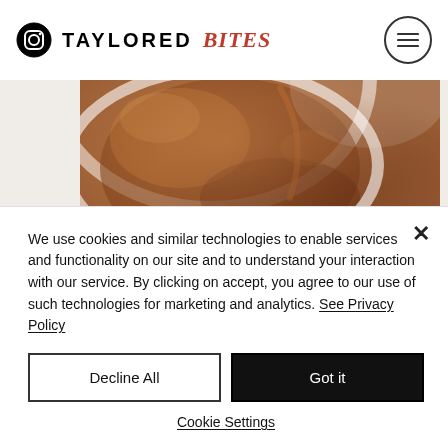TAYLORED BITES
[Figure (photo): Close-up photo of chocolate cake batter in a mixing bowl, showing smooth brown batter with mixing marks]
Transfer the cake mix into the prepared tin and spread out so it’s as flat and smooth as possible.
We use cookies and similar technologies to enable services and functionality on our site and to understand your interaction with our service. By clicking on accept, you agree to our use of such technologies for marketing and analytics. See Privacy Policy
Decline All
Got it
Cookie Settings